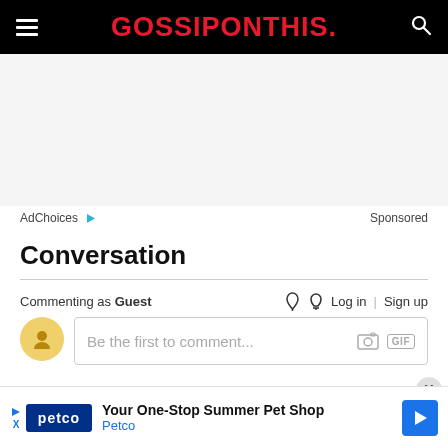GOSSIPONTHIS.
[Figure (other): Advertisement area with AdChoices and Sponsored labels]
Conversation
Commenting as Guest   Log in | Sign up
Be the first to comment...
[Figure (other): Bottom advertisement: Petco - Your One-Stop Summer Pet Shop]